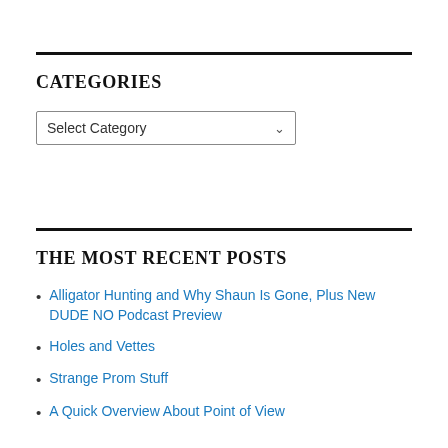CATEGORIES
Select Category
THE MOST RECENT POSTS
Alligator Hunting and Why Shaun Is Gone, Plus New DUDE NO Podcast Preview
Holes and Vettes
Strange Prom Stuff
A Quick Overview About Point of View